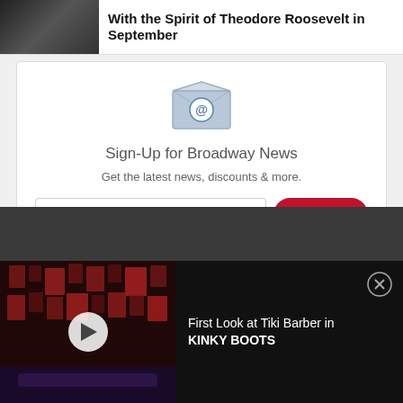With the Spirit of Theodore Roosevelt in September
[Figure (screenshot): Email signup widget with envelope icon, sign-up form for Broadway News]
Sign-Up for Broadway News
Get the latest news, discounts & more.
[Figure (screenshot): Video player thumbnail showing Kinky Boots stage with red lighting, play button overlay]
First Look at Tiki Barber in KINKY BOOTS